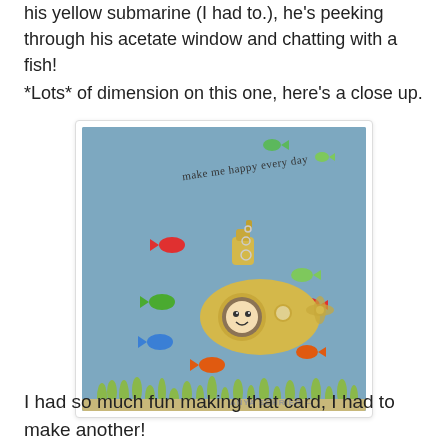his yellow submarine (I had to.), he's peeking through his acetate window and chatting with a fish!
*Lots* of dimension on this one, here's a close up.
[Figure (photo): Close-up photo of a handmade greeting card featuring a yellow submarine on a blue background, with colorful fish, seaweed at the bottom, and text 'make me happy every day'. A smiling face is visible through the submarine's circular porthole. Watermark reads ANYA SCHRIER.]
I had so much fun making that card, I had to make another!